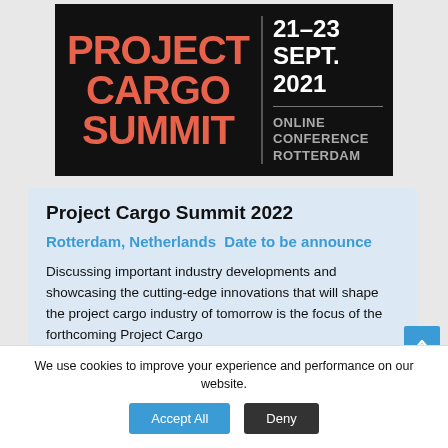[Figure (logo): Project Cargo Summit banner on black background. Left side shows 'PROJECT CARGO SUMMIT' in large red/coral bold text. Right side shows '21-23 SEPT. 2021' in large white bold text, followed by a horizontal line, then 'ONLINE CONFERENCE ROTTERDAM' in gray text.]
Project Cargo Summit 2022
Rotterdam, Netherlands  Date to be announce
Discussing important industry developments and showcasing the cutting-edge innovations that will shape the project cargo industry of tomorrow is the focus of the forthcoming Project Cargo...
We use cookies to improve your experience and performance on our website.